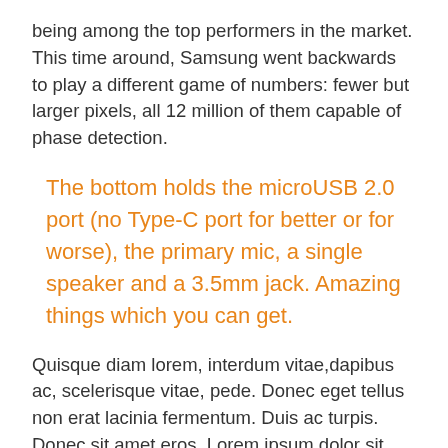being among the top performers in the market. This time around, Samsung went backwards to play a different game of numbers: fewer but larger pixels, all 12 million of them capable of phase detection.
The bottom holds the microUSB 2.0 port (no Type-C port for better or for worse), the primary mic, a single speaker and a 3.5mm jack. Amazing things which you can get.
Quisque diam lorem, interdum vitae,dapibus ac, scelerisque vitae, pede. Donec eget tellus non erat lacinia fermentum. Duis ac turpis. Donec sit amet eros. Lorem ipsum dolor sit amet, consecvtetuer adipiscing elit. Mauris fermentum